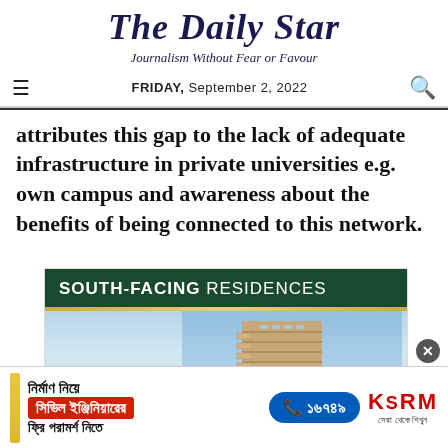The Daily Star
Journalism Without Fear or Favour
FRIDAY, September 2, 2022
attributes this gap to the lack of adequate infrastructure in private universities e.g. own campus and awareness about the benefits of being connected to this network.
[Figure (photo): Advertisement for South-Facing Residences showing a modern multi-story building with blue sky background]
[Figure (infographic): Bottom advertisement in Bengali for KSRM civil engineering free consultation service with phone number 16749]